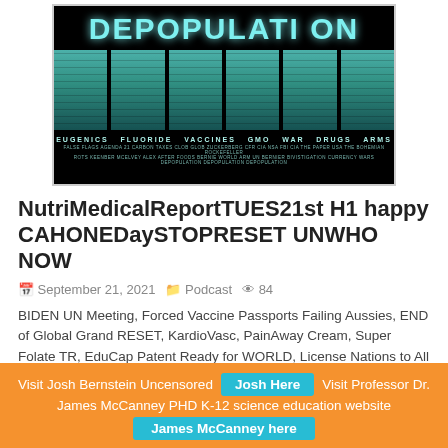[Figure (illustration): Black and white conspiratorial poster with teal/cyan tinted faces of public figures behind bars under the word DEPOPULATION, with text EUGENICS FLUORIDE VACCINES GMO WAR DRUGS ARMS below]
NutriMedicalReportTUES21st H1 happy CAHONEDaySTOPRESET UNWHO NOW
September 21, 2021  Podcast  84
BIDEN UN Meeting, Forced Vaccine Passports Failing Aussies, END of Global Grand RESET, KardioVasc, PainAway Cream, Super Folate TR, EduCap Patent Ready for WORLD, License Nations to All Peoples NOW, Vaccine Resuce Pre and Post, First Line of Defense, COMING
Visit Josh Bernstein Uncensored  Josh Here  Visit Professor Dr. James McCanney PHD K-12 science education website  James McCanney here